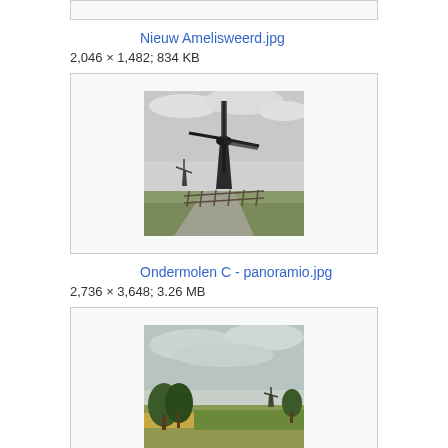[Figure (other): Top image box partially shown, cropped at top of page]
Nieuw Amelisweerd.jpg
2,046 × 1,482; 834 KB
[Figure (photo): Black and white photograph of a Dutch windmill with fence in rural landscape]
Ondermolen C - panoramio.jpg
2,736 × 3,648; 3.26 MB
[Figure (photo): Color photograph of a Dutch windmill in a flat landscape with trees and fields]